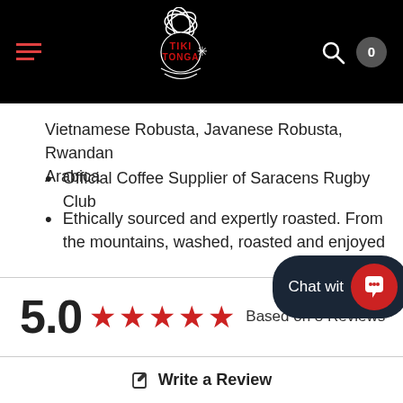[Figure (logo): Tiki Tonga coffee roasters logo — white decorative leaves/bird motif with red 'TIKI TONGA' text, on black navigation bar with hamburger menu, search icon and cart button showing 0]
Vietnamese Robusta, Javanese Robusta, Rwandan Arabica
Official Coffee Supplier of Saracens Rugby Club
Ethically sourced and expertly roasted. From the mountains, washed, roasted and enjoyed
5.0  ★★★★★  Based on 8 Reviews
✎  Write a Review